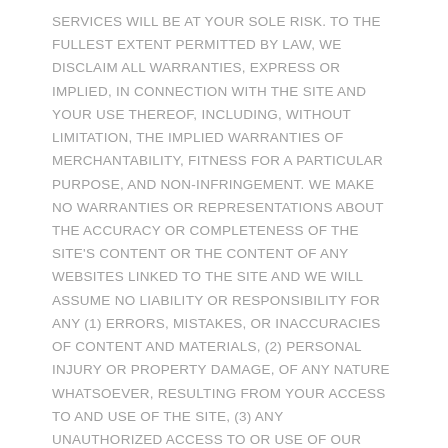SERVICES WILL BE AT YOUR SOLE RISK. TO THE FULLEST EXTENT PERMITTED BY LAW, WE DISCLAIM ALL WARRANTIES, EXPRESS OR IMPLIED, IN CONNECTION WITH THE SITE AND YOUR USE THEREOF, INCLUDING, WITHOUT LIMITATION, THE IMPLIED WARRANTIES OF MERCHANTABILITY, FITNESS FOR A PARTICULAR PURPOSE, AND NON-INFRINGEMENT. WE MAKE NO WARRANTIES OR REPRESENTATIONS ABOUT THE ACCURACY OR COMPLETENESS OF THE SITE'S CONTENT OR THE CONTENT OF ANY WEBSITES LINKED TO THE SITE AND WE WILL ASSUME NO LIABILITY OR RESPONSIBILITY FOR ANY (1) ERRORS, MISTAKES, OR INACCURACIES OF CONTENT AND MATERIALS, (2) PERSONAL INJURY OR PROPERTY DAMAGE, OF ANY NATURE WHATSOEVER, RESULTING FROM YOUR ACCESS TO AND USE OF THE SITE, (3) ANY UNAUTHORIZED ACCESS TO OR USE OF OUR SECURE SERVERS AND/OR ANY AND ALL PERSONAL INFORMATION AND/OR FINANCIAL INFORMATION